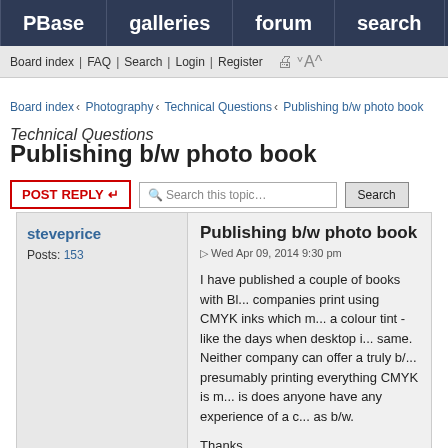PBase | galleries | forum | search
Board index | FAQ | Search | Login | Register
Board index < Photography < Technical Questions < Publishing b/w photo book
Technical Questions
Publishing b/w photo book
POSTREPLY   Search this topic…   Search
steveprice
Posts: 153
Publishing b/w photo book
Wed Apr 09, 2014 9:30 pm
I have published a couple of books with Bl... companies print using CMYK inks which m... a colour tint - like the days when desktop i... same. Neither company can offer a truly b/... presumably printing everything CMYK is m... is does anyone have any experience of a c... as b/w.

Thanks.

Steve